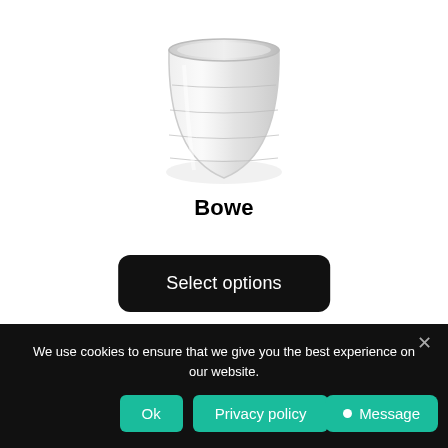[Figure (photo): A clear glass jar/cup product viewed from slightly above, with a rounded bottom and ribbed/ridged sides, on a white background. Only the bottom portion of the product is visible.]
Bowe
Select options
[Figure (illustration): Heart/like icon outline in pink/red color]
We use cookies to ensure that we give you the best experience on our website.
Ok
Privacy policy
Message